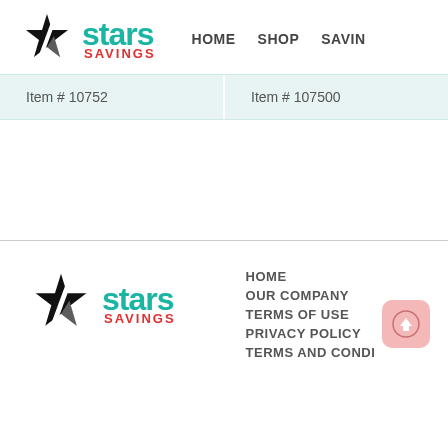[Figure (logo): Stars Savings logo with star icon, teal 'stars' text, red 'SAVINGS' text]
HOME   SHOP   SAVIN...
Item # 10752
Item # 107500
[Figure (logo): Stars Savings footer logo with star icon, teal 'stars' text, red 'SAVINGS' text]
HOME
OUR COMPANY
TERMS OF USE
PRIVACY POLICY
TERMS AND CONDI...